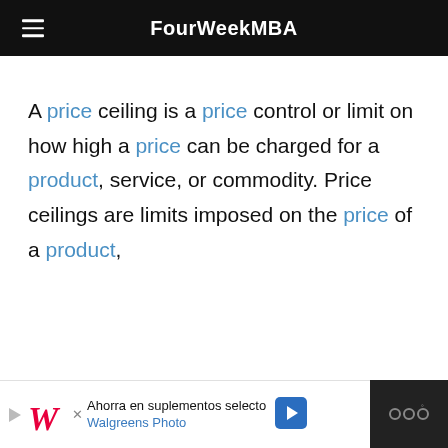FourWeekMBA
A price ceiling is a price control or limit on how high a price can be charged for a product, service, or commodity. Price ceilings are limits imposed on the price of a product,
[Figure (screenshot): Advertisement bar: Walgreens Photo ad with text 'Ahorra en suplementos selecto Walgreens Photo']